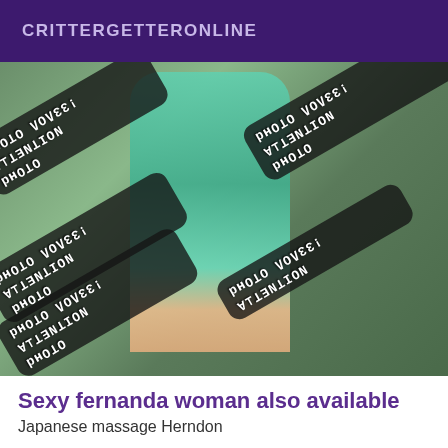CRITTERGETTERONLINE
[Figure (photo): Photo of a woman in a teal/mint dress with multiple overlaid watermarks reading 'ATTENTION PHOTO VOLEE!' in mirrored/upside-down text on dark rounded rectangle backgrounds, over an outdoor background.]
Sexy fernanda woman also available
Japanese massage Herndon